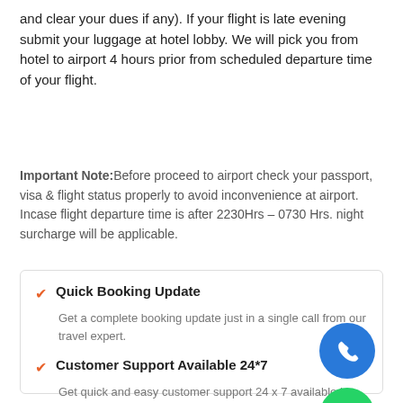and clear your dues if any). If your flight is late evening submit your luggage at hotel lobby. We will pick you from hotel to airport 4 hours prior from scheduled departure time of your flight.
Important Note: Before proceed to airport check your passport, visa & flight status properly to avoid inconvenience at airport. Incase flight departure time is after 2230Hrs – 0730 Hrs. night surcharge will be applicable.
Quick Booking Update
Get a complete booking update just in a single call from our travel expert.
Customer Support Available 24*7
Get quick and easy customer support 24 x 7 available in Hindi and English.